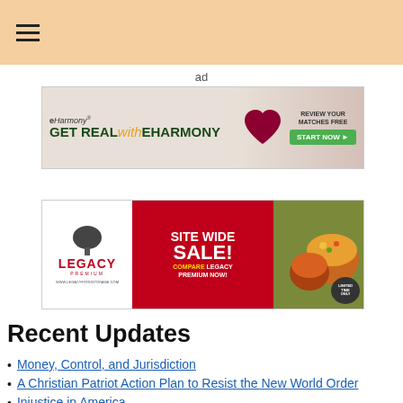≡ (hamburger menu icon)
ad
[Figure (other): eHarmony advertisement banner: 'GET REAL with EHARMONY' with heart graphic, 'REVIEW YOUR MATCHES FREE' and 'START NOW' button]
[Figure (other): Legacy Premium food storage advertisement: 'SITE WIDE SALE! COMPARE LEGACY PREMIUM NOW!' with food images and 'LIMITED TIME ONLY' badge, WWW.LEGACYFOODSTORAGE.COM]
Recent Updates
Money, Control, and Jurisdiction
A Christian Patriot Action Plan to Resist the New World Order
Injustice in America